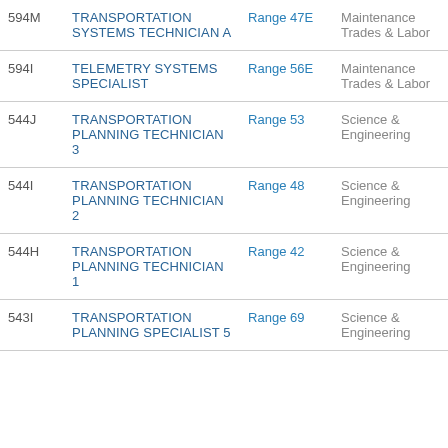| Code | Job Title | Range | Category |
| --- | --- | --- | --- |
| 594M | TRANSPORTATION SYSTEMS TECHNICIAN A | Range 47E | Maintenance Trades & Labor |
| 594I | TELEMETRY SYSTEMS SPECIALIST | Range 56E | Maintenance Trades & Labor |
| 544J | TRANSPORTATION PLANNING TECHNICIAN 3 | Range 53 | Science & Engineering |
| 544I | TRANSPORTATION PLANNING TECHNICIAN 2 | Range 48 | Science & Engineering |
| 544H | TRANSPORTATION PLANNING TECHNICIAN 1 | Range 42 | Science & Engineering |
| 543I | TRANSPORTATION PLANNING SPECIALIST 5 | Range 69 | Science & Engineering |